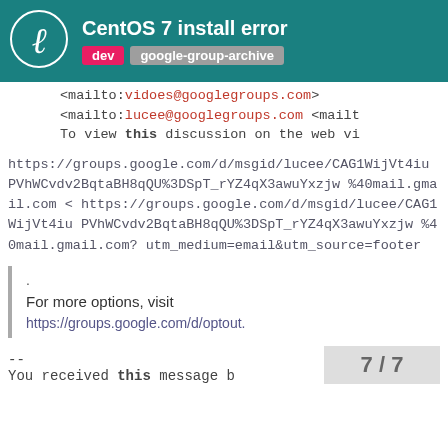CentOS 7 install error | dev | google-group-archive
<mailto:vidoes@googlegroups.com>
<mailto:lucee@googlegroups.com <mailt
To view this discussion on the web vi
https://groups.google.com/d/msgid/lucee/CAG1WijVt4iuPVhWCvdv2BqtaBH8qQU%3DSpT_rYZ4qX3awuYxzjw%40mail.gmail.com
<
https://groups.google.com/d/msgid/lucee/CAG1WijVt4iuPVhWCvdv2BqtaBH8qQU%3DSpT_rYZ4qX3awuYxzjw%40mail.gmail.com?utm_medium=email&utm_source=footer
.
For more options, visit
https://groups.google.com/d/optout.
--
You received this message b